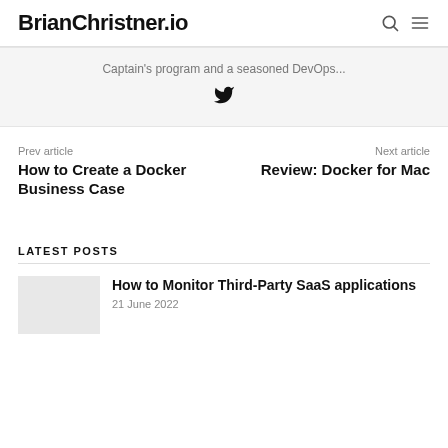BrianChristner.io
Captain's program and a seasoned DevOps...
[Twitter icon]
Prev article
How to Create a Docker Business Case
Next article
Review: Docker for Mac
LATEST POSTS
How to Monitor Third-Party SaaS applications
21 June 2022